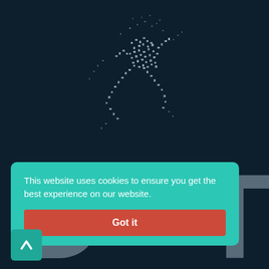[Figure (illustration): Dark navy background with a particle/pixel art illustration of a running figure made of scattered dots and fragments, with large partially visible letters 'D' and 'T' in the background]
This website uses cookies to ensure you get the best experience on our website.
Got it